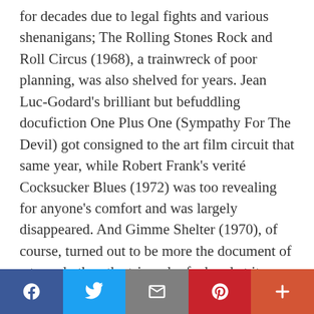for decades due to legal fights and various shenanigans; The Rolling Stones Rock and Roll Circus (1968), a trainwreck of poor planning, was also shelved for years. Jean Luc-Godard's brilliant but befuddling docufiction One Plus One (Sympathy For The Devil) got consigned to the art film circuit that same year, while Robert Frank's verité Cocksucker Blues (1972) was too revealing for anyone's comfort and was largely disappeared. And Gimme Shelter (1970), of course, turned out to be more the document of a tragedy than the triumph of a band at its peak. Joining these and subsequent Stones films, jostling for space in the flood of
Social share bar: Facebook, Twitter, Email, Pinterest, More